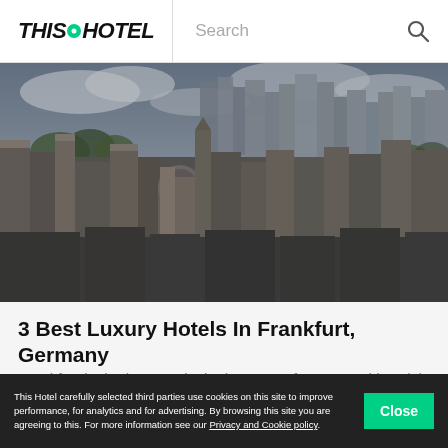THIS•HOTEL | Search
[Figure (photo): Aerial cityscape of Frankfurt, Germany showing historic buildings in foreground with modern skyscrapers in the background under a cloudy sky]
3 Best Luxury Hotels In Frankfurt, Germany
Frankfurt is the largest city in the state of Hesse. With a rich history and deep business atmosphere, Frankfurt is a really cool city to visit. As the finance and business capital of Germany, you may find
This Hotel carefully selected third parties use cookies on this site to improve performance, for analytics and for advertising. By browsing this site you are agreeing to this. For more information see our Privacy and Cookie policy.